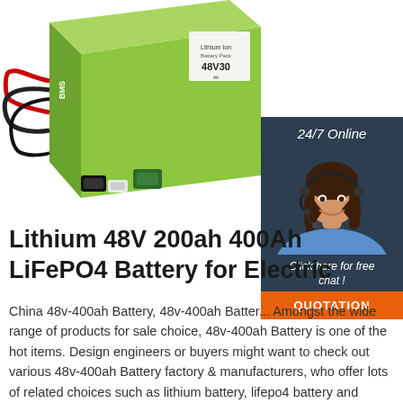[Figure (photo): Green lithium 48V battery pack with red and black wiring/connectors, viewed from an angle showing the top and front face. Label on battery reads 48V30... Battery brand BMS visible.]
[Figure (infographic): Customer service chat widget: dark navy background, '24/7 Online' header text, photo of smiling woman with headset, 'Click here for free chat!' text, orange QUOTATION button.]
Lithium 48V 200ah 400Ah LiFePO4 Battery for Electri...
China 48v-400ah Battery, 48v-400ah Battery... Amongst the wide range of products for sale choice, 48v-400ah Battery is one of the hot items. Design engineers or buyers might want to check out various 48v-400ah Battery factory & manufacturers, who offer lots of related choices such as lithium battery, lifepo4 battery and rechargeable battery. Get ...